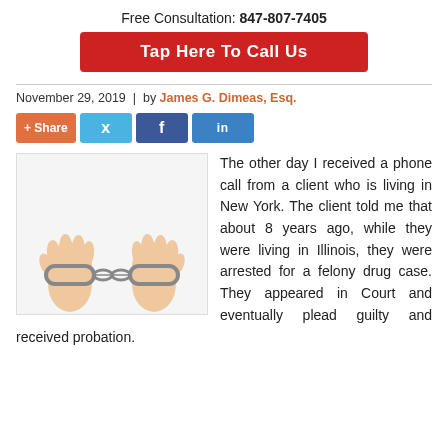Free Consultation: 847-807-7405
Tap Here To Call Us
November 29, 2019  |  by James G. Dimeas, Esq.
[Figure (other): Social share buttons: +Share, Twitter, Facebook, LinkedIn]
[Figure (photo): Two hands in handcuffs against white background]
The other day I received a phone call from a client who is living in New York. The client told me that about 8 years ago, while they were living in Illinois, they were arrested for a felony drug case. They appeared in Court and eventually plead guilty and received probation.